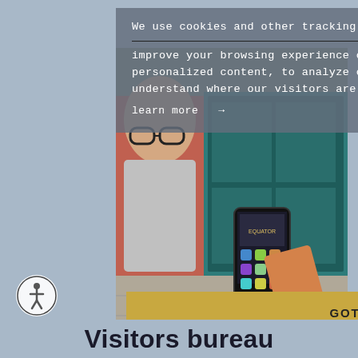[Figure (screenshot): A screenshot/cookie consent overlay on a website. Background shows a person holding a smartphone with apps visible, standing in front of a teal door and pink wall. The cookie consent dialog overlays the image with a semi-transparent grey box.]
We use cookies and other tracking technologies to improve your browsing experience on our website, to show you personalized content, to analyze our website traffic, and to understand where our visitors are coming from.
learn more →
GOT IT
[Figure (illustration): Accessibility icon: circle with stylized human figure in wheelchair pose]
Visitors bureau